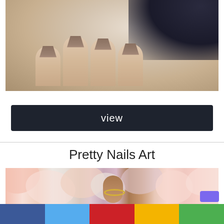[Figure (photo): Close-up photo of a hand with long brown/taupe coffin-shaped nails against a white surface, with dark glove visible in background]
[Figure (other): Dark navy/charcoal rectangular button with white text reading 'view']
Pretty Nails Art
[Figure (photo): Close-up photo of hands with decorated nails in pastel and pink tones with floral/fabric background]
[Figure (other): Social sharing bar at bottom with Facebook (blue), Twitter (light blue), Pinterest (red), Google+ (yellow/gold), and WhatsApp (green) buttons]